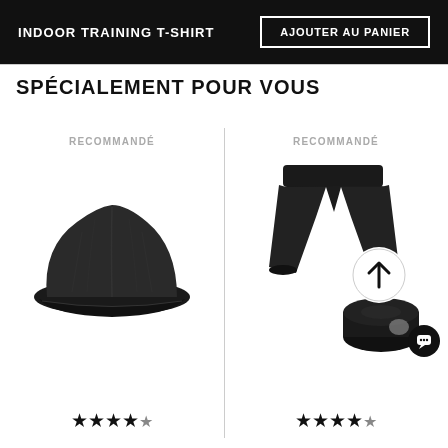INDOOR TRAINING T-SHIRT
AJOUTER AU PANIER
SPÉCIALEMENT POUR VOUS
RECOMMANDÉ
[Figure (photo): Black sports cycling cap product photo]
★★★★½
RECOMMANDÉ
[Figure (photo): Black cycling shorts and accessories product photo with arrow icon overlay]
★★★★½